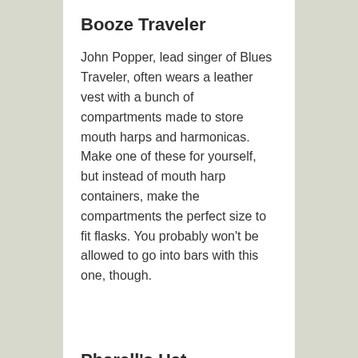Booze Traveler
John Popper, lead singer of Blues Traveler, often wears a leather vest with a bunch of compartments made to store mouth harps and harmonicas. Make one of these for yourself, but instead of mouth harp containers, make the compartments the perfect size to fit flasks. You probably won't be allowed to go into bars with this one, though.
Pharell's Hat
Just dress up like one of those